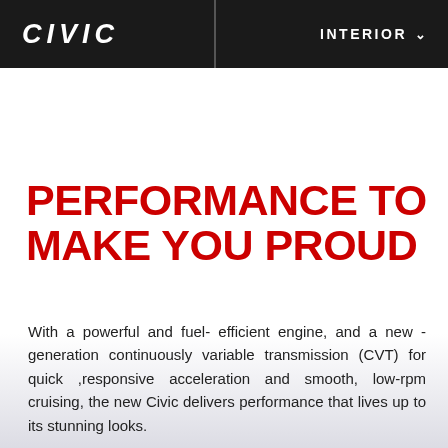CIVIC   INTERIOR
PERFORMANCE TO MAKE YOU PROUD
With a powerful and fuel- efficient engine, and a new -generation continuously variable transmission (CVT) for quick ,responsive acceleration and smooth, low-rpm cruising, the new Civic delivers performance that lives up to its stunning looks.